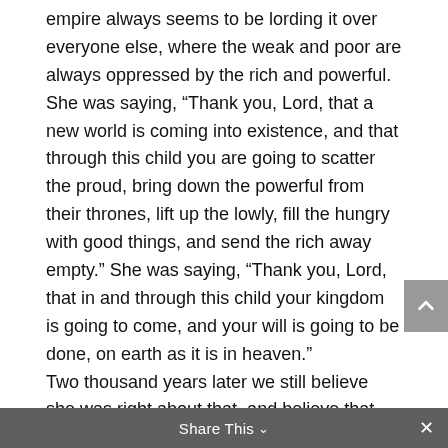empire always seems to be lording it over everyone else, where the weak and poor are always oppressed by the rich and powerful. She was saying, “Thank you, Lord, that a new world is coming into existence, and that through this child you are going to scatter the proud, bring down the powerful from their thrones, lift up the lowly, fill the hungry with good things, and send the rich away empty.” She was saying, “Thank you, Lord, that in and through this child your kingdom is going to come, and your will is going to be done, on earth as it is in heaven.”

Two thousand years later we still believe she was right about that, and believe that Jesus is the one whose dominion is an everlasting dominion, and whose kingship will never pass away. The coming of Christ changed the world forever. But if we are
Share This